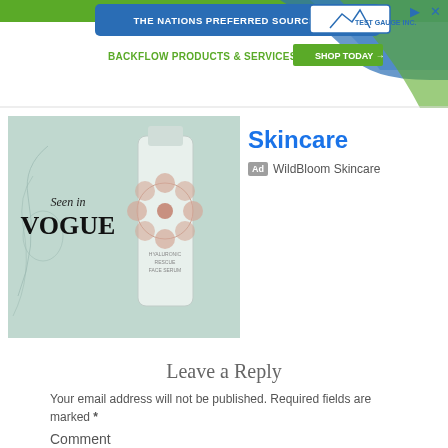[Figure (other): Top banner advertisement for Test Gauge Inc. — backflow products and services. Green bar at top, blue oval with text 'THE NATIONS PREFERRED SOURCE FOR', green text 'BACKFLOW PRODUCTS & SERVICES', 'SHOP TODAY' green button, Test Gauge Inc. logo, play and close buttons.]
[Figure (other): WildBloom Skincare advertisement. Left side shows image of a skincare bottle on teal background with 'Seen in VOGUE' text. Right side shows 'Skincare' in blue with Ad badge and 'WildBloom Skincare' label.]
Leave a Reply
Your email address will not be published. Required fields are marked *
Comment